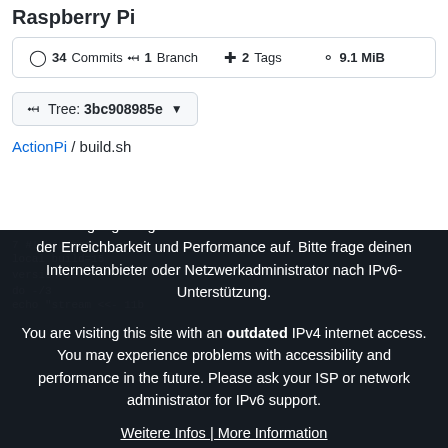Raspberry Pi
34 Commits  1 Branch  2 Tags  9.1 MiB
Tree: 3bc908985e
ActionPi / build.sh
Du besuchst diese Seite mit einem veralteten IPv4-Internetzugang. Möglicherweise treten in Zukunft Probleme mit der Erreichbarkeit und Performance auf. Bitte frage deinen Internetanbieter oder Netzwerkadministrator nach IPv6-Unterstützung.
You are visiting this site with an outdated IPv4 internet access. You may experience problems with accessibility and performance in the future. Please ask your ISP or network administrator for IPv6 support.
Weitere Infos | More Information
Klicke zum schließen | Click to close